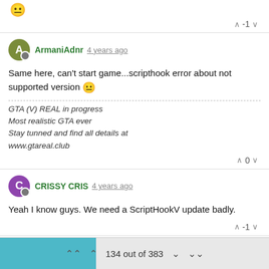😐 (emoji, partial comment top)
-1 vote
ArmaniAdnr 4 years ago
Same here, can't start game...scripthook error about not supported version 😐
GTA (V) REAL in progress
Most realistic GTA ever
Stay tunned and find all details at
www.gtareal.club
0 vote
CRISSY CRIS 4 years ago
Yeah I know guys. We need a ScriptHookV update badly.
-1 vote
MrJiNx 4 years ago
134 out of 383